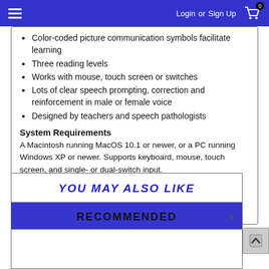Login or Sign Up  0
Color-coded picture communication symbols facilitate learning
Three reading levels
Works with mouse, touch screen or switches
Lots of clear speech prompting, correction and reinforcement in male or female voice
Designed by teachers and speech pathologists
System Requirements
A Macintosh running MacOS 10.1 or newer, or a PC running Windows XP or newer. Supports keyboard, mouse, touch screen, and single- or dual-switch input.
YOU MAY ALSO LIKE
RECOMMENDED